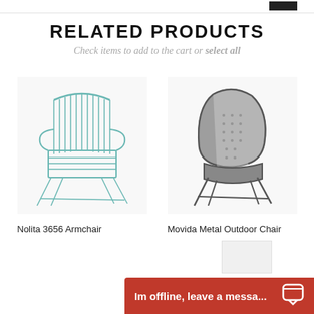RELATED PRODUCTS
Check items to add to the cart or select all
[Figure (photo): Teal/turquoise wire metal armchair (Nolita 3656 Armchair) on white background]
Nolita 3656 Armchair
[Figure (photo): Dark gray metal mesh outdoor chair (Movida Metal Outdoor Chair) on white background]
Movida Metal Outdoor Chair